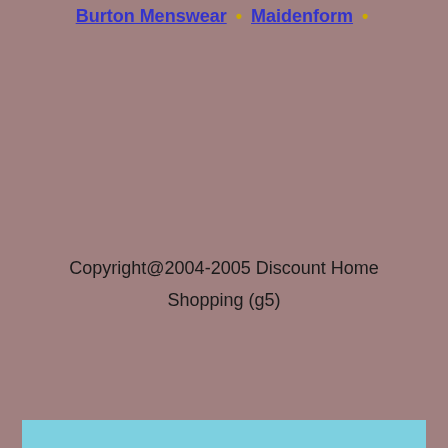Burton Menswear • Maidenform •
Copyright@2004-2005 Discount Home Shopping (g5)
BUILD A FREE WEBSITE ON